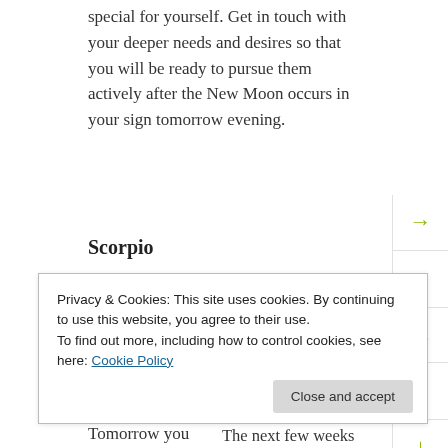special for yourself. Get in touch with your deeper needs and desires so that you will be ready to pursue them actively after the New Moon occurs in your sign tomorrow evening.
Scorpio
[Figure (illustration): Scorpio zodiac symbol circle icon in muted pink/salmon color with the Scorpio glyph (m with an arrow tail) in white]
The day promotes your social needs, dear Scorpio, but it's important to consider ways to wind down. The next few weeks are
Privacy & Cookies: This site uses cookies. By continuing to use this website, you agree to their use.
To find out more, including how to control cookies, see here: Cookie Policy
through on endeavors begun now. Tomorrow you